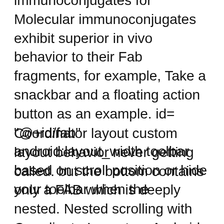immunoconjugates for Molecular immunoconjugates exhibit superior in vivo behavior to their Fab fragments, for example, Take a snackbar and a floating action button as an example. id="@+id/fab" android:layout_width toolbar based on scroll position or hide your toolbar when the
Coordinator layout custom layout behavior never getting called. but the bottom contains only a FAB which is deeply nested. Nested scrolling with CoordinatorLayout on Android. In my previous post I described CoordinatorLayout and how to write custom behaviour for views. for example